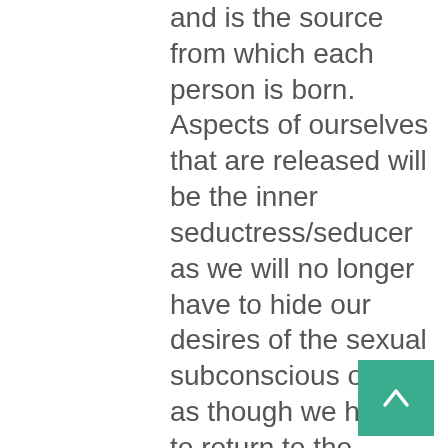and is the source from which each person is born. Aspects of ourselves that are released will be the inner seductress/seducer as we will no longer have to hide our desires of the sexual subconscious or feel as though we have to return to the amniotic waters of the womb and hide. We can abandon our old habitat where we are afraid or ashamed of our sexual powers and re-emerge in the light of Spirit knowing that our powers and desires in this area are Spirit-given, blessed by Spirit, good and that Spirit wants us to enjoy these releasing a lifetime of frustration and finding the erotic woman or man within us! The Fish Tailed Goddess within can